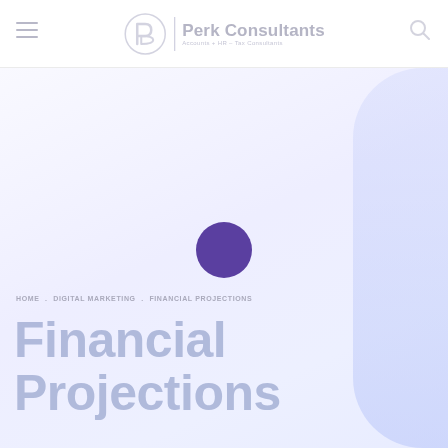Perk Consultants — Accounts + HR – Tax Consultants
HOME . DIGITAL MARKETING . FINANCIAL PROJECTIONS
Financial Projections